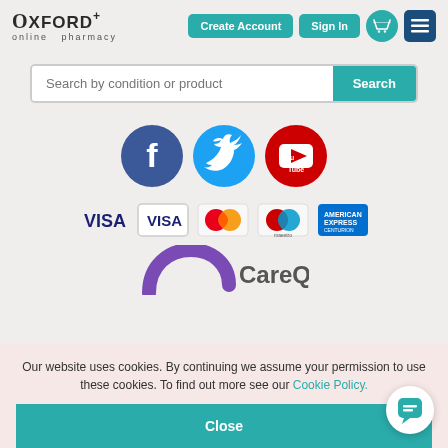[Figure (logo): Oxford+ online pharmacy logo in top left]
[Figure (screenshot): Create Account and Sign In buttons plus basket and menu icons in header]
[Figure (screenshot): Search bar with text 'Search by condition or product' and Search button]
[Figure (illustration): Facebook, Twitter, and YouTube social media circular icons]
[Figure (illustration): Payment card logos: VISA (text), VISA (outlined), Mastercard, Maestro, American Express]
[Figure (logo): Care Quality Commission logo with purple arc and 'CareQuality' text]
Our website uses cookies. By continuing we assume your permission to use these cookies. To find out more see our Cookie Policy.
[Figure (screenshot): Close button (teal background, white text)]
[Figure (illustration): Chat bubble icon in bottom right corner]